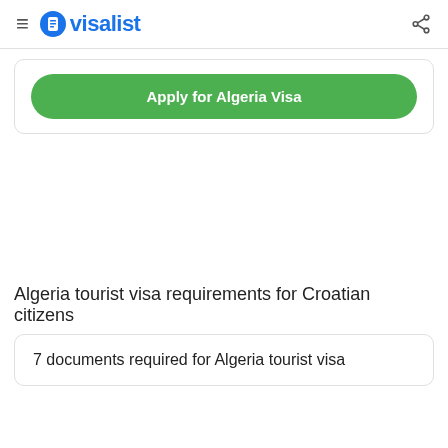visalist
Apply for Algeria Visa
Algeria tourist visa requirements for Croatian citizens
7 documents required for Algeria tourist visa